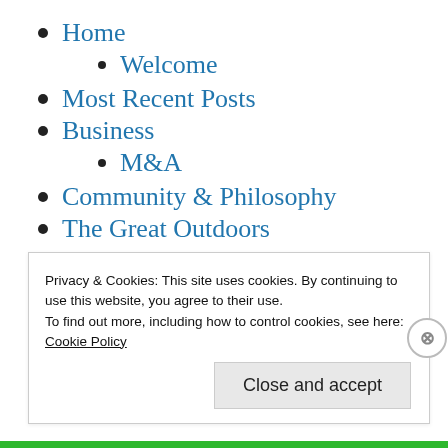Home
Welcome
Most Recent Posts
Business
M&A
Community & Philosophy
The Great Outdoors
About Me
Résumé
Privacy & Cookies: This site uses cookies. By continuing to use this website, you agree to their use.
To find out more, including how to control cookies, see here:
Cookie Policy
Close and accept